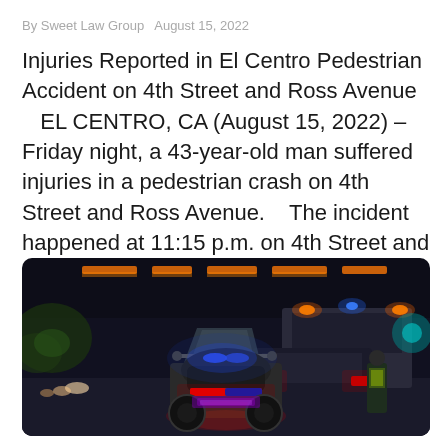By Sweet Law Group   August 15, 2022
Injuries Reported in El Centro Pedestrian Accident on 4th Street and Ross Avenue   EL CENTRO, CA (August 15, 2022) – Friday night, a 43-year-old man suffered injuries in a pedestrian crash on 4th Street and Ross Avenue.   The incident happened at 11:15 p.m. on 4th Street and Ross Avenue.   According to reports, [...]
[Figure (photo): Nighttime street scene showing a police motorcycle with blue and red lights in foreground, emergency vehicles with flashing orange and blue lights in background, cars on a city street at night]